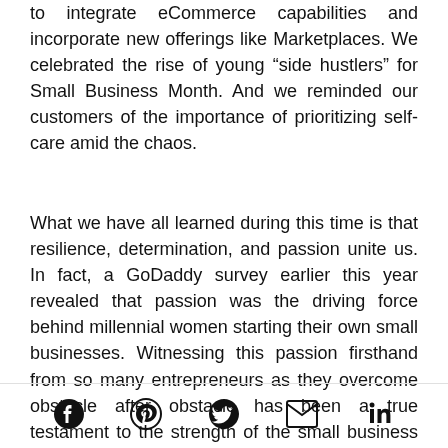to integrate eCommerce capabilities and incorporate new offerings like Marketplaces. We celebrated the rise of young “side hustlers” for Small Business Month. And we reminded our customers of the importance of prioritizing self-care amid the chaos.
What we have all learned during this time is that resilience, determination, and passion unite us. In fact, a GoDaddy survey earlier this year revealed that passion was the driving force behind millennial women starting their own small businesses. Witnessing this passion firsthand from so many entrepreneurs as they overcome obstacle after obstacle has been a true testament to the strength of the small business community.
[Figure (other): Social media share icons: Facebook, Pinterest, Twitter, Email, LinkedIn]